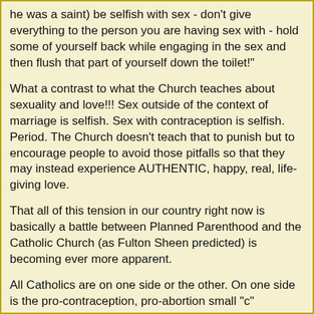he was a saint) be selfish with sex - don't give everything to the person you are having sex with - hold some of yourself back while engaging in the sex and then flush that part of yourself down the toilet!"
What a contrast to what the Church teaches about sexuality and love!!! Sex outside of the context of marriage is selfish. Sex with contraception is selfish. Period. The Church doesn't teach that to punish but to encourage people to avoid those pitfalls so that they may instead experience AUTHENTIC, happy, real, life-giving love.
That all of this tension in our country right now is basically a battle between Planned Parenthood and the Catholic Church (as Fulton Sheen predicted) is becoming ever more apparent.
All Catholics are on one side or the other. On one side is the pro-contraception, pro-abortion small "c" catholics, and on the other side is those who live the Church's teaching. It is time to choose a side and time to encourage others to choose a side. This is as black-and-white good-vs.-evil as it